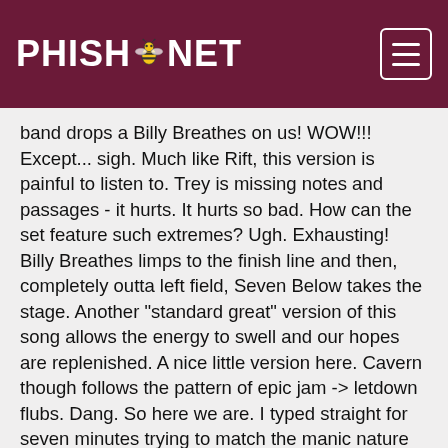PHISH.NET
band drops a Billy Breathes on us! WOW!!! Except... sigh. Much like Rift, this version is painful to listen to. Trey is missing notes and passages - it hurts. It hurts so bad. How can the set feature such extremes? Ugh. Exhausting! Billy Breathes limps to the finish line and then, completely outta left field, Seven Below takes the stage. Another "standard great" version of this song allows the energy to swell and our hopes are replenished. A nice little version here. Cavern though follows the pattern of epic jam -> letdown flubs. Dang. So here we are. I typed straight for seven minutes trying to match the manic nature of this set and now I am out of breath and my fingers hurt. This set is something else though, the mixture of GALACTIC HIGHS and chasm lows. Can the second set show more consistency?
Down with Disease growwwwwwwls through the speakers and we are off! Other than Tweezer, I can't